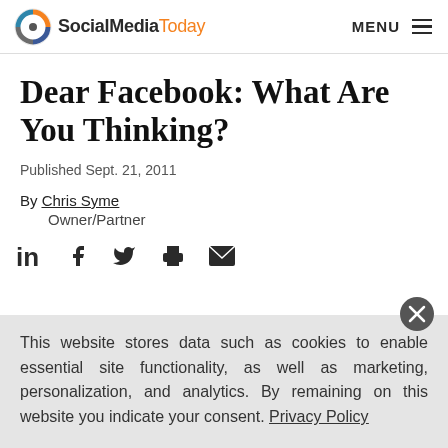SocialMediaToday — MENU
Dear Facebook: What Are You Thinking?
Published Sept. 21, 2011
By Chris Syme
    Owner/Partner
[Figure (infographic): Social sharing icons row: LinkedIn, Facebook, Twitter, Print, Email]
This website stores data such as cookies to enable essential site functionality, as well as marketing, personalization, and analytics. By remaining on this website you indicate your consent. Privacy Policy